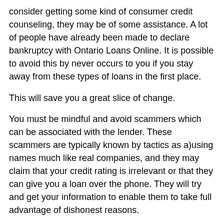consider getting some kind of consumer credit counseling, they may be of some assistance. A lot of people have already been made to declare bankruptcy with Ontario Loans Online. It is possible to avoid this by never occurs to you if you stay away from these types of loans in the first place.
This will save you a great slice of change.
You must be mindful and avoid scammers which can be associated with the lender. These scammers are typically known by tactics as a)using names much like real companies, and they may claim that your credit rating is irrelevant or that they can give you a loan over the phone. They will try and get your information to enable them to take full advantage of dishonest reasons.
Maintain your Ontario Loans Online. Although most places don't hide just how much it will cost for loans, you just need quick cash sometimes. Payday lending involves smaller amounts that range from about $50 to $500 in certain